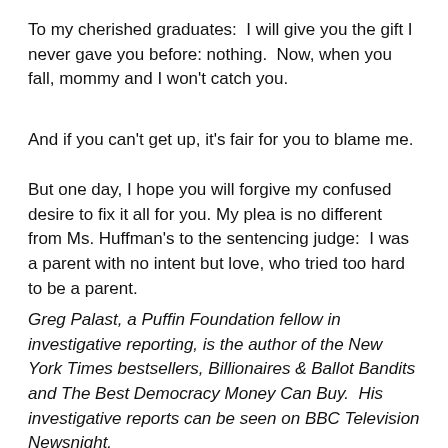To my cherished graduates:  I will give you the gift I never gave you before: nothing.  Now, when you fall, mommy and I won't catch you.
And if you can't get up, it's fair for you to blame me.
But one day, I hope you will forgive my confused desire to fix it all for you. My plea is no different from Ms. Huffman's to the sentencing judge:  I was a parent with no intent but love, who tried too hard to be a parent.
Greg Palast, a Puffin Foundation fellow in investigative reporting, is the author of the New York Times bestsellers, Billionaires & Ballot Bandits and The Best Democracy Money Can Buy.  His investigative reports can be seen on BBC Television Newsnight.